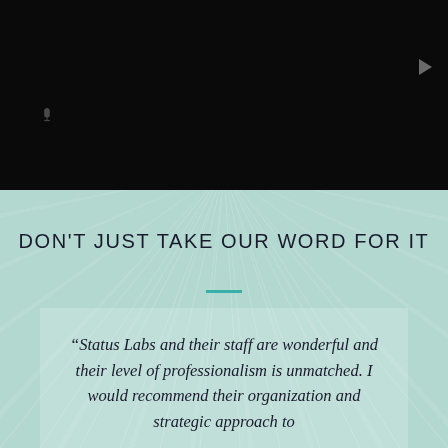[Figure (screenshot): Dark/black top section representing a video or media player interface with small icons]
DON'T JUST TAKE OUR WORD FOR IT
“Status Labs and their staff are wonderful and their level of professionalism is unmatched. I would recommend their organization and strategic approach to…